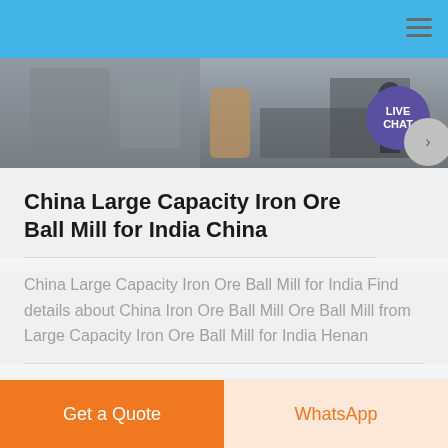[Figure (photo): Industrial mining or milling facility interior showing rock walls, equipment, and a worker; hero banner image with a 'LIVE CHAT' purple speech bubble in top right corner.]
China Large Capacity Iron Ore Ball Mill for India China
China Large Capacity Iron Ore Ball Mill for India Find details about China Iron Ore Ball Mill Ore Ball Mill from Large Capacity Iron Ore Ball Mill for India Henan
read more
Get a Quote
WhatsApp